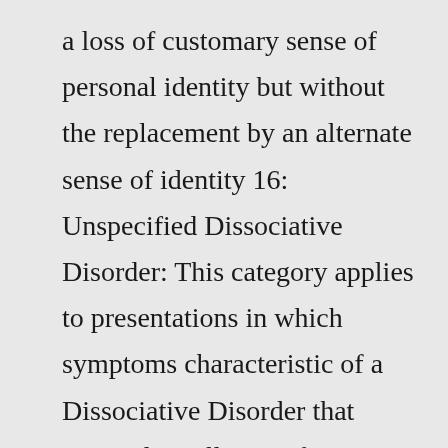a loss of customary sense of personal identity but without the replacement by an alternate sense of identity 16: Unspecified Dissociative Disorder: This category applies to presentations in which symptoms characteristic of a Dissociative Disorder that cause clinically significant distress or impairment in social, occupational, or other Pathfinding Through Multiple Personality: A Comprehensive Treatment Handbook for